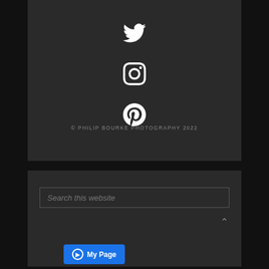[Figure (logo): Twitter bird icon in white on dark background]
[Figure (logo): Instagram camera icon in white on dark background]
[Figure (logo): Pinterest P icon in white circle on dark background]
© PHILIP BOURKE PHOTOGRAPHY 2022
Search this website
My Page